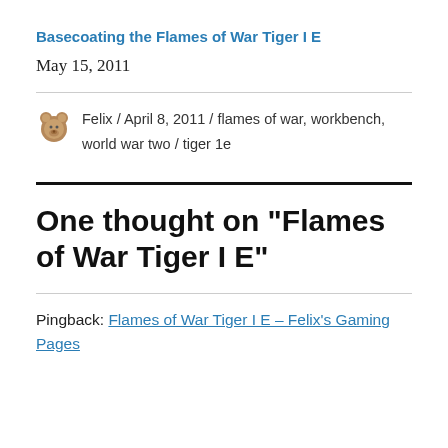Basecoating the Flames of War Tiger I E
May 15, 2011
Felix / April 8, 2011 / flames of war, workbench, world war two / tiger 1e
One thought on “Flames of War Tiger I E”
Pingback: Flames of War Tiger I E - Felix's Gaming Pages